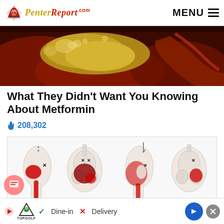PenterReport.com | MENU
[Figure (photo): Close-up medical/anatomical photo showing internal organs with yellowish and reddish tissue]
What They Didn't Want You Knowing About Metformin
208,302
[Figure (illustration): Medical illustration showing four views of the human hip and pelvis area with red highlighted pain/inflammation zones, demonstrating sciatic nerve or joint pain areas]
Dine-in  Delivery